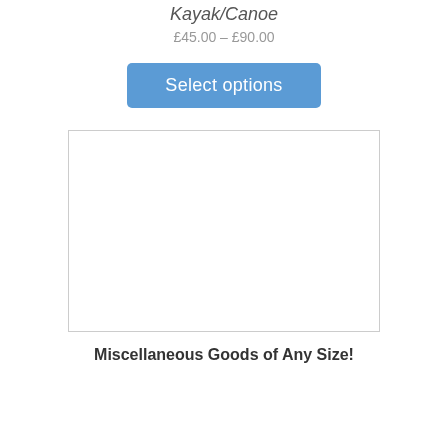Kayak/Canoe
£45.00 – £90.00
Select options
[Figure (other): Empty white rectangular image placeholder with light grey border]
Miscellaneous Goods of Any Size!